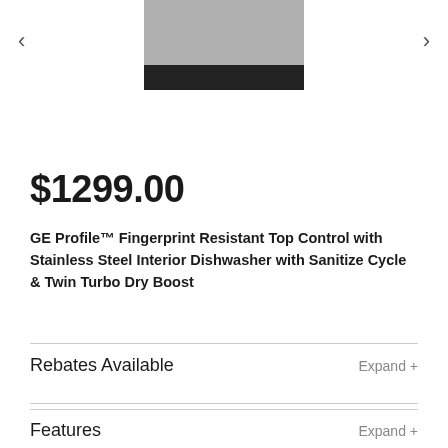[Figure (photo): Partial product image of a dishwasher (cropped at top), shown in gray and black tones]
$1299.00
GE Profile™ Fingerprint Resistant Top Control with Stainless Steel Interior Dishwasher with Sanitize Cycle & Twin Turbo Dry Boost
Rebates Available
Expand +
Features
Expand +